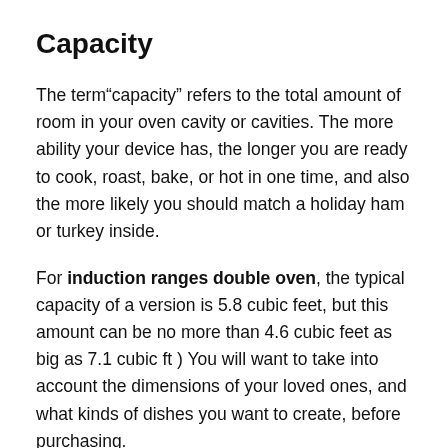Capacity
The term“capacity” refers to the total amount of room in your oven cavity or cavities. The more ability your device has, the longer you are ready to cook, roast, bake, or hot in one time, and also the more likely you should match a holiday ham or turkey inside.
For induction ranges double oven, the typical capacity of a version is 5.8 cubic feet, but this amount can be no more than 4.6 cubic feet as big as 7.1 cubic ft ) You will want to take into account the dimensions of your loved ones, and what kinds of dishes you want to create, before purchasing.